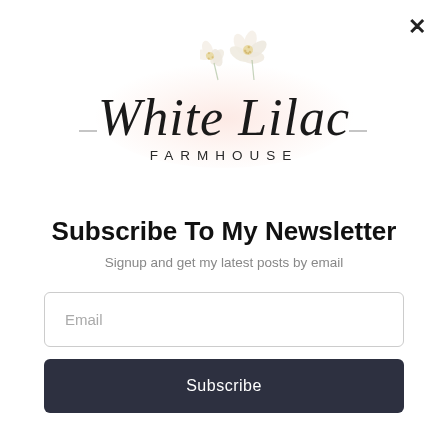[Figure (logo): White Lilac Farmhouse logo with cursive script text and small dried white flowers above, soft pink watercolor wash background behind the text. Below the script reads FARMHOUSE in spaced uppercase sans-serif letters.]
Subscribe To My Newsletter
Signup and get my latest posts by email
Email
Subscribe